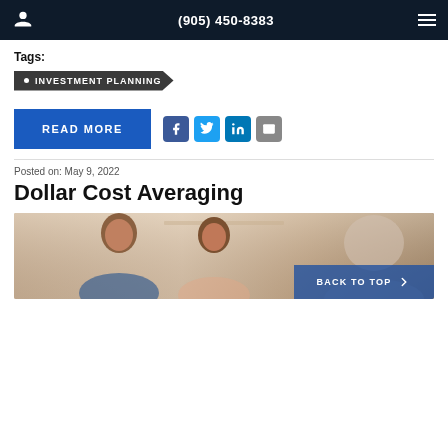(905) 450-8383
Tags:
INVESTMENT PLANNING
READ MORE
Posted on: May 9, 2022
Dollar Cost Averaging
[Figure (photo): Couple smiling with financial advisor in office setting]
BACK TO TOP